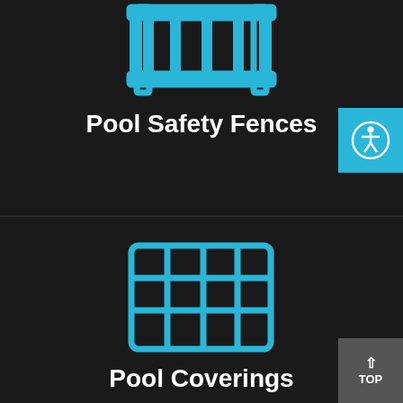[Figure (illustration): Blue fence/gate icon with vertical bars and horizontal rails on dark background]
Pool Safety Fences
[Figure (illustration): Blue grid/mesh icon representing pool covering on dark background]
Pool Coverings